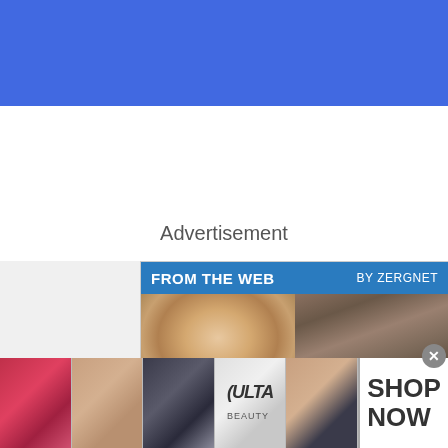[Figure (screenshot): Blue search bar at top with white rounded search input showing placeholder text 'type to search' and a magnifying glass icon]
Advertisement
[Figure (infographic): Zergnet content recommendation widget with header 'FROM THE WEB / BY ZERGNET', two article cards: 'Love Scenes That Everyone Agrees Took Things Too' with blonde woman photo, and 'Co-Stars Who Enjoyed Kissing Each Other Just A' with couple photo]
[Figure (photo): Bottom advertisement strip from Ulta Beauty showing makeup photos and 'SHOP NOW' call to action with a close button]